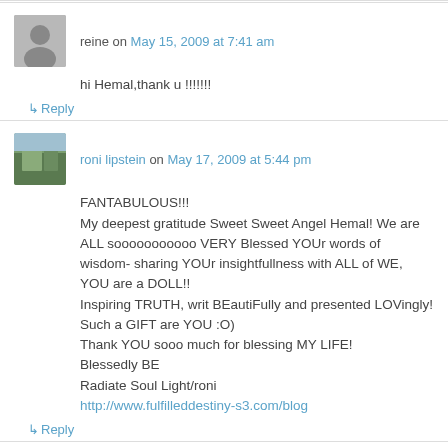reine on May 15, 2009 at 7:41 am
hi Hemal,thank u !!!!!!!
↳ Reply
roni lipstein on May 17, 2009 at 5:44 pm
FANTABULOUS!!!
My deepest gratitude Sweet Sweet Angel Hemal! We are ALL sooooooooooo VERY Blessed YOUr words of wisdom- sharing YOUr insightfullness with ALL of WE, YOU are a DOLL!!
Inspiring TRUTH, writ BEautiFully and presented LOVingly!
Such a GIFT are YOU :O)
Thank YOU sooo much for blessing MY LIFE!
Blessedly BE
Radiate Soul Light/roni
http://www.fulfilleddestiny-s3.com/blog
↳ Reply